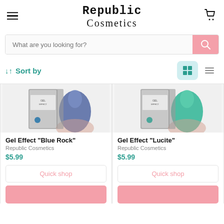Republic Cosmetics
What are you looking for?
Sort by
[Figure (photo): Product image of Gel Effect Blue Rock nail gel box with blue nail color swatch]
Gel Effect "Blue Rock"
Republic Cosmetics
$5.99
Quick shop
[Figure (photo): Product image of Gel Effect Lucite nail gel box with green nail color swatch]
Gel Effect "Lucite"
Republic Cosmetics
$5.99
Quick shop